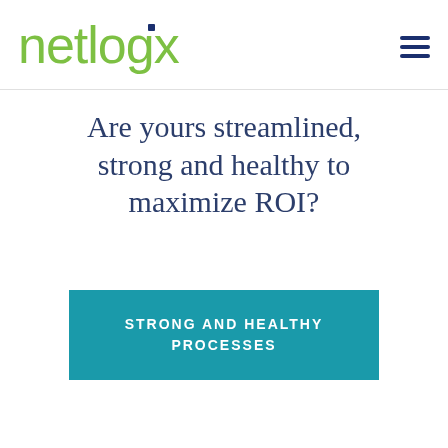[Figure (logo): Netlogx logo in green text with a small dark blue square dot above the 'g', followed by hamburger menu icon in dark blue on the right]
Are yours streamlined, strong and healthy to maximize ROI?
STRONG AND HEALTHY PROCESSES